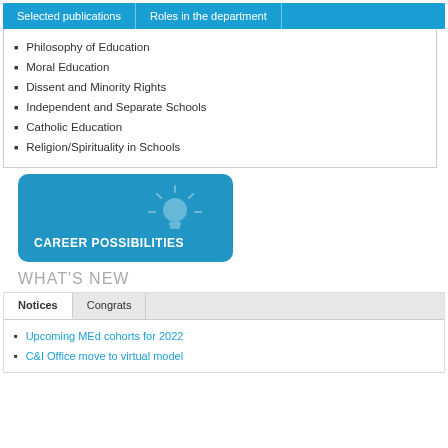[Figure (screenshot): Tab navigation bar with 'Selected publications' and 'Roles in the department' tabs on blue background]
Philosophy of Education
Moral Education
Dissent and Minority Rights
Independent and Separate Schools
Catholic Education
Religion/Spirituality in Schools
[Figure (infographic): Blue rounded rectangle button with lightbulb icon and text 'CAREER POSSIBILITIES']
WHAT'S NEW
[Figure (screenshot): Tab bar with 'Notices' (active) and 'Congrats' tabs]
Upcoming MEd cohorts for 2022
C&I Office move to virtual model